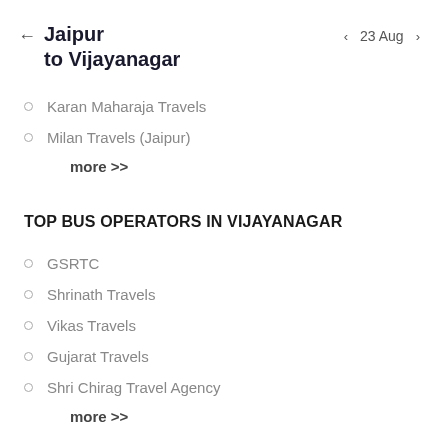Jaipur to Vijayanagar
23 Aug
Karan Maharaja Travels
Milan Travels (Jaipur)
more >>
TOP BUS OPERATORS IN VIJAYANAGAR
GSRTC
Shrinath Travels
Vikas Travels
Gujarat Travels
Shri Chirag Travel Agency
more >>